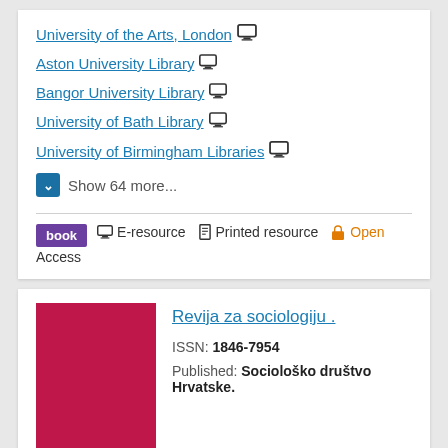University of the Arts, London [monitor icon]
Aston University Library [monitor icon]
Bangor University Library [monitor icon]
University of Bath Library [monitor icon]
University of Birmingham Libraries [monitor icon]
Show 64 more...
book  E-resource  Printed resource  Open Access
Revija za sociologiju .
ISSN: 1846-7954
Published: Sociološko društvo Hrvatske.